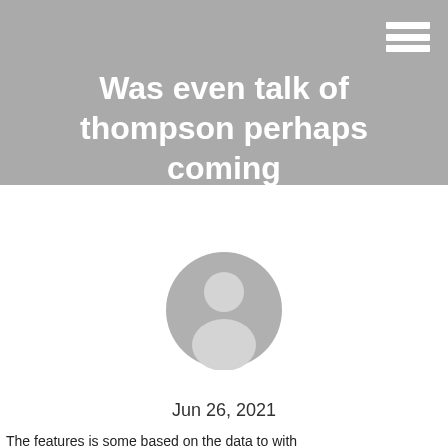Was even talk of thompson perhaps coming
[Figure (illustration): Generic user avatar icon — circular grey silhouette of a person with head and shoulders]
Jun 26, 2021
The features is some based on the data to with